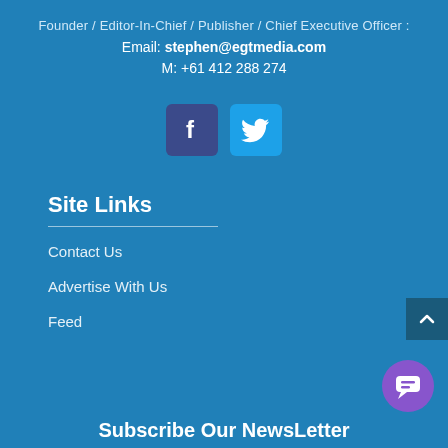Founder / Editor-In-Chief / Publisher / Chief Executive Officer :
Email: stephen@egtmedia.com
M: +61 412 288 274
[Figure (other): Facebook and Twitter social media icon buttons]
Site Links
Contact Us
Advertise With Us
Feed
Subscribe Our NewsLetter